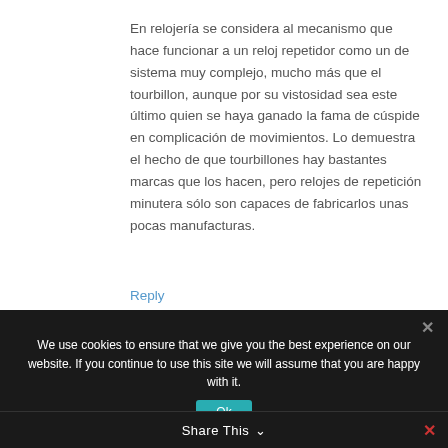En relojería se considera al mecanismo que hace funcionar a un reloj repetidor como un de sistema muy complejo, mucho más que el tourbillon, aunque por su vistosidad sea este último quien se haya ganado la fama de cúspide en complicación de movimientos. Lo demuestra el hecho de que tourbillones hay bastantes marcas que los hacen, pero relojes de repetición minutera sólo son capaces de fabricarlos unas pocas manufacturas.
Reply
We use cookies to ensure that we give you the best experience on our website. If you continue to use this site we will assume that you are happy with it.
Share This